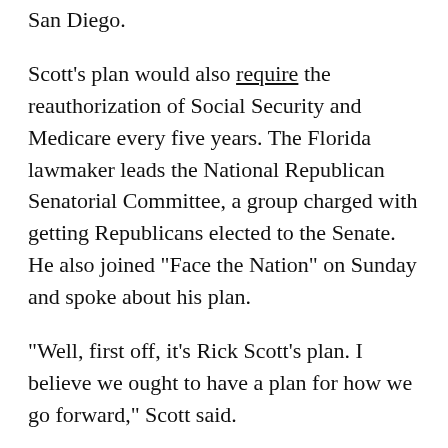San Diego.
Scott's plan would also require the reauthorization of Social Security and Medicare every five years. The Florida lawmaker leads the National Republican Senatorial Committee, a group charged with getting Republicans elected to the Senate. He also joined "Face the Nation" on Sunday and spoke about his plan.
"Well, first off, it's Rick Scott's plan. I believe we ought to have a plan for how we go forward," Scott said.
"We have very low labor participation right now. I want people back to work," he said. "And with regard to Medicare and Social Security, think about this: We have got to be honest with the American people and